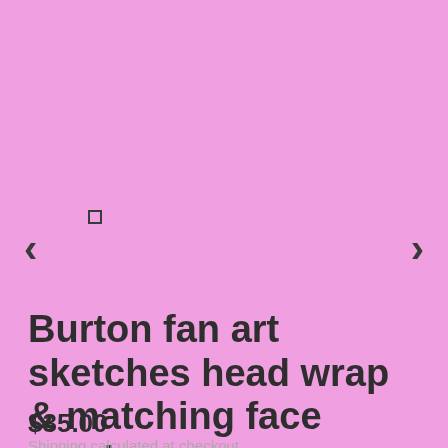[Figure (screenshot): Pink background product image area with left and right navigation arrows and a small square thumbnail indicator]
Burton fan art sketches head wrap & matching face mask
$35.00
Shipping calculated at checkout